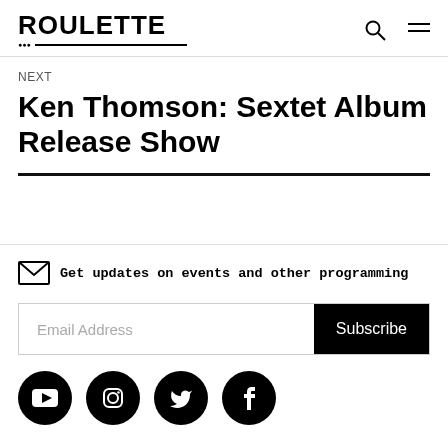ROULETTE
NEXT
Ken Thomson: Sextet Album Release Show
Get updates on events and other programming
Email Address | Subscribe
[Figure (illustration): Social media icons: YouTube, Instagram, Twitter, Facebook]